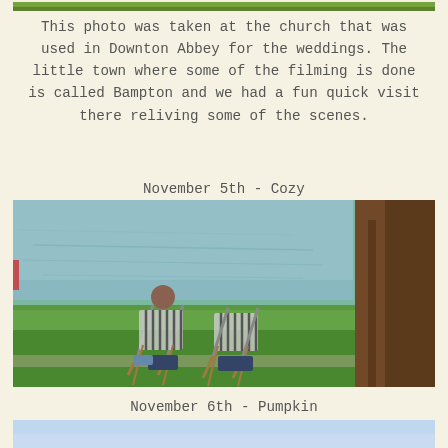[Figure (photo): Top portion of a photo showing green foliage, likely from the church area at Bampton]
This photo was taken at the church that was used in Downton Abbey for the weddings. The little town where some of the filming is done is called Bampton and we had a fun quick visit there reliving some of the scenes.
November 5th - Cozy
[Figure (photo): Two people sitting in striped deck chairs on grass by a lake or river, with a large tree trunk visible on the right side]
November 6th - Pumpkin
[Figure (photo): Bottom portion of a photo showing a blue sky with light clouds]